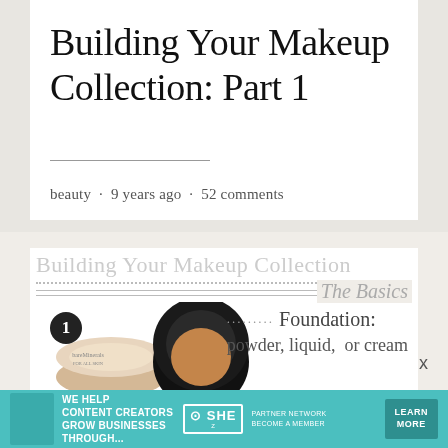Building Your Makeup Collection: Part 1
beauty · 9 years ago · 52 comments
[Figure (infographic): Building Your Makeup Collection infographic showing 'The Basics' with number 1 badge, product images of powder foundation compacts, dotted leader line, and text 'Foundation: powder, liquid, or cream']
[Figure (advertisement): SHE Partner Network ad banner in teal color with text 'We help content creators grow businesses through...' and 'Learn More' button]